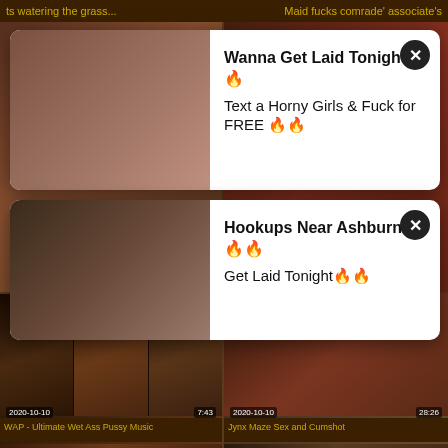ts watering the grass... | Maid fucks comrade' associate's
[Figure (screenshot): Video thumbnail collage - adult content video grid with overlaid popup advertisements]
Wanna Get Laid Tonight?? 🔥
Text a Horny Girls & Fuck for FREE 🔥🔥
Hookups Near Ashburn? 🔥🔥
Get Laid Tonight🔥🔥
WAP - Ultimate Wet Ass Pussy Music
Jynx Maze Sex and Cumshot
2020-10-10
7:43
2020-10-10
28:26